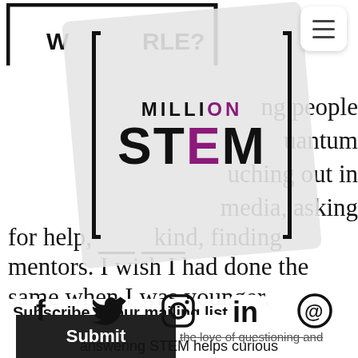[Figure (logo): Million STEM logo — white/grey card rotated slightly, showing bracket frame with 'MILLION' in bold (ON in purple) and 'STEM' in large bold black text with M in purple. Menu hamburger button top right.]
W...RLE?
ng people
uantum
uching out in
media, asking
for help, kind, finding
mentors. I wish I had done the
same when I was younger.
Subscribe to our mailing list
KING
Email
Submit
.ove
the love of questioning and
answering STEM helps curious
kids become more curious and